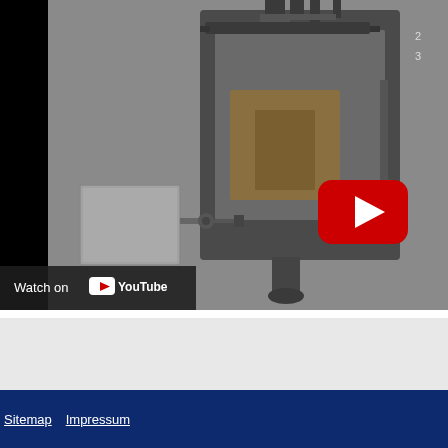[Figure (screenshot): YouTube video thumbnail/embed showing a cross-sectional engineering diagram of an industrial furnace or vacuum chamber with mechanical components. A YouTube play button (red rounded rectangle with white triangle) is overlaid at center. A 'Watch on YouTube' bar is shown at the bottom left of the video frame.]
Sitemap   Impressum